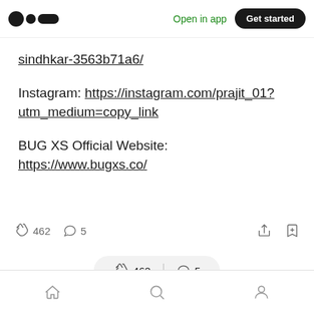Medium app navigation bar with logo, Open in app, Get started
sindhkar-3563b71a6/
Instagram: https://instagram.com/prajit_01?utm_medium=copy_link
BUG XS Official Website: https://www.bugxs.co/
462 claps, 5 comments, share and bookmark icons; pill bar with 462 claps and 5 comments; bottom navigation with home, search, profile icons